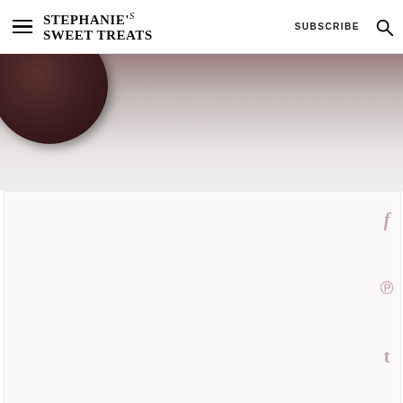STEPHANIE'S SWEET TREATS | SUBSCRIBE
[Figure (photo): Partial top view of a dark chocolate cookie or baked good against a light gray/white background, blurred and cropped at the top.]
[Figure (screenshot): White/light pink content area below the photo, with social sharing icons (Facebook f, Pinterest P, Tumblr t) on the right side in muted pink color.]